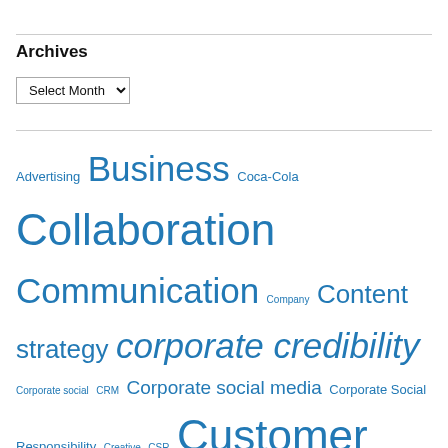Archives
Select Month
Advertising Business Coca-Cola Collaboration Communication Company Content strategy corporate credibility Corporate social CRM Corporate social media Corporate Social Responsibility Creative CSR Customer Customer relationship management Customer service Facebook Google Google Analytics IBM Internet marketing Kevin Bishop Landing page Linkedin Market